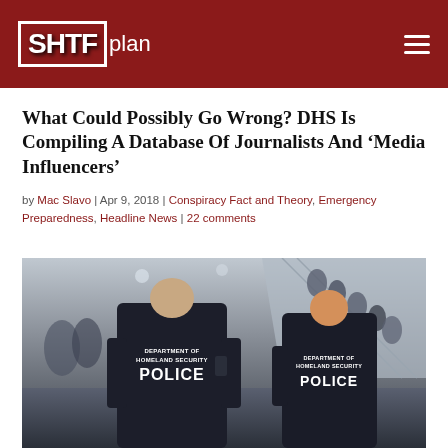SHTFplan
What Could Possibly Go Wrong? DHS Is Compiling A Database Of Journalists And ‘Media Influencers’
by Mac Slavo | Apr 9, 2018 | Conspiracy Fact and Theory, Emergency Preparedness, Headline News | 22 comments
[Figure (photo): Two Department of Homeland Security Police officers viewed from behind, wearing dark vests labeled DEPARTMENT OF HOMELAND SECURITY POLICE, standing in what appears to be a transit hub with an escalator and crowd of people in the background.]